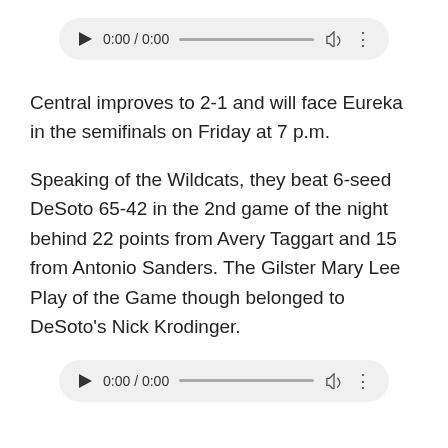[Figure (other): Audio player widget showing 0:00 / 0:00 with play button, progress bar, volume icon, and more options icon]
Central improves to 2-1 and will face Eureka in the semifinals on Friday at 7 p.m.
Speaking of the Wildcats, they beat 6-seed DeSoto 65-42 in the 2nd game of the night behind 22 points from Avery Taggart and 15 from Antonio Sanders. The Gilster Mary Lee Play of the Game though belonged to DeSoto's Nick Krodinger.
[Figure (other): Audio player widget showing 0:00 / 0:00 with play button, progress bar, volume icon, and more options icon]